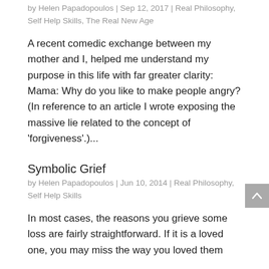by Helen Papadopoulos | Sep 12, 2017 | Real Philosophy, Self Help Skills, The Real New Age
A recent comedic exchange between my mother and I, helped me understand my purpose in this life with far greater clarity: Mama: Why do you like to make people angry? (In reference to an article I wrote exposing the massive lie related to the concept of 'forgiveness'.)...
Symbolic Grief
by Helen Papadopoulos | Jun 10, 2014 | Real Philosophy, Self Help Skills
In most cases, the reasons you grieve some loss are fairly straightforward. If it is a loved one, you may miss the way you loved them